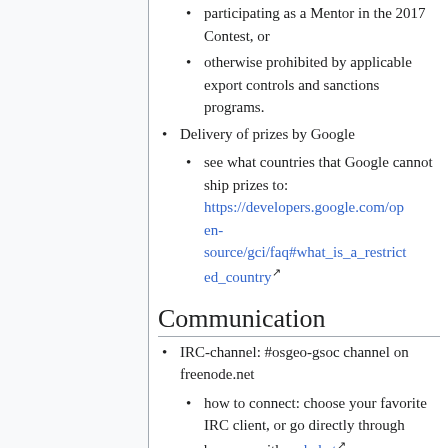participating as a Mentor in the 2017 Contest, or
otherwise prohibited by applicable export controls and sanctions programs.
Delivery of prizes by Google
see what countries that Google cannot ship prizes to: https://developers.google.com/open-source/gci/faq#what_is_a_restricted_country
Communication
IRC-channel: #osgeo-gsoc channel on freenode.net
how to connect: choose your favorite IRC client, or go directly through browser with webchat